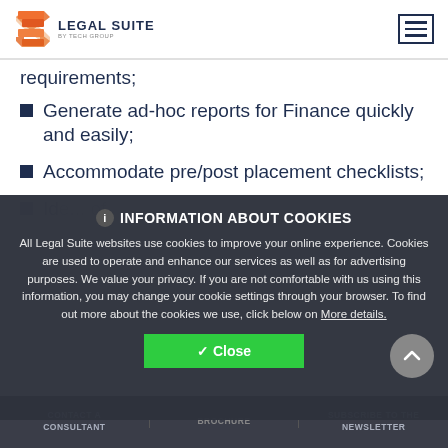Legal Suite
requirements;
Generate ad-hoc reports for Finance quickly and easily;
Accommodate pre/post placement checklists;
Identify... of missing, expired and incomplete...
INFORMATION ABOUT COOKIES

All Legal Suite websites use cookies to improve your online experience. Cookies are used to operate and enhance our services as well as for advertising purposes. We value your privacy. If you are not comfortable with us using this information, you may change your cookie settings through your browser. To find out more about the cookies we use, click below on More details.
CONTACT A CONSULTANT | BROCHURE | SUBSCRIBE TO THE NEWSLETTER